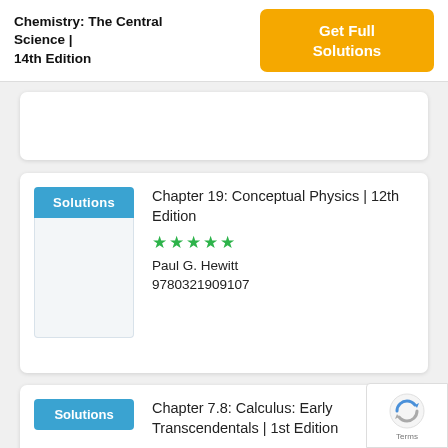Chemistry: The Central Science | 14th Edition
[Figure (other): Orange 'Get Full Solutions' button]
Solutions
Chapter 19: Conceptual Physics | 12th Edition
★★★★★
Paul G. Hewitt
9780321909107
Solutions
Chapter 7.8: Calculus: Early Transcendentals | 1st Edition